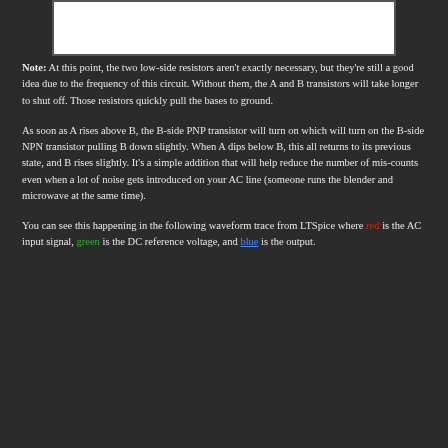[Figure (schematic): Partial circuit schematic diagram shown at top of page]
Note: At this point, the two low-side resistors aren't exactly necessary, but they're still a good idea due to the frequency of this circuit.  Without them, the A and B transistors will take longer to shut off.  Those resistors quickly pull the bases to ground.
As soon as A rises above B, the B-side PNP transistor will turn on which will turn on the B-side NPN transistor pulling B down slightly.  When A dips below B, this all returns to its previous state, and B rises slightly.  It's a simple addition that will help reduce the number of mis-counts even when a lot of noise gets introduced on your AC line (someone runs the blender and microwave at the same time).
You can see this happening in the following waveform trace from LTSpice where red is the AC input signal, green is the DC reference voltage, and blue is the output.